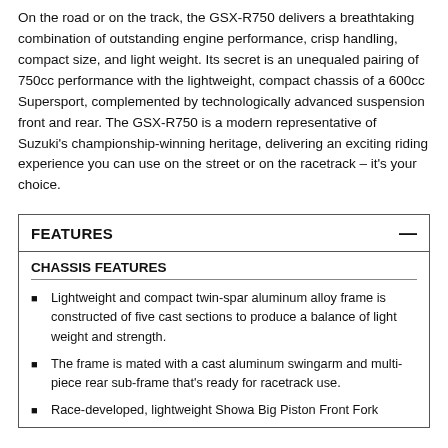On the road or on the track, the GSX-R750 delivers a breathtaking combination of outstanding engine performance, crisp handling, compact size, and light weight. Its secret is an unequaled pairing of 750cc performance with the lightweight, compact chassis of a 600cc Supersport, complemented by technologically advanced suspension front and rear. The GSX-R750 is a modern representative of Suzuki's championship-winning heritage, delivering an exciting riding experience you can use on the street or on the racetrack – it's your choice.
FEATURES
CHASSIS FEATURES
Lightweight and compact twin-spar aluminum alloy frame is constructed of five cast sections to produce a balance of light weight and strength.
The frame is mated with a cast aluminum swingarm and multi-piece rear sub-frame that's ready for racetrack use.
Race-developed, lightweight Showa Big Piston Front Fork